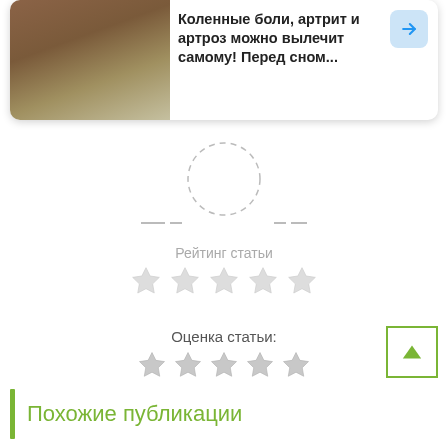[Figure (screenshot): Mobile app card showing an article preview with image and text about treating knee pain, arthritis and arthrosis, with a blue arrow button]
Коленные боли, артрит и артроз можно вылечит самому! Перед сном...
Рейтинг статьи
[Figure (other): Five gray empty stars for article rating]
Оценка статьи:
[Figure (other): Five gray/silver stars for article score rating]
[Figure (other): Green bordered up arrow button]
Похожие публикации